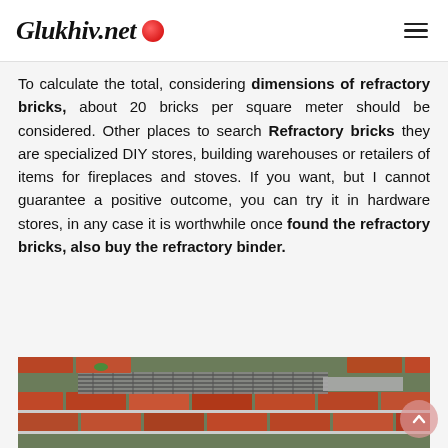Glukhiv.net
To calculate the total, considering dimensions of refractory bricks, about 20 bricks per square meter should be considered. Other places to search Refractory bricks they are specialized DIY stores, building warehouses or retailers of items for fireplaces and stoves. If you want, but I cannot guarantee a positive outcome, you can try it in hardware stores, in any case it is worthwhile once found the refractory bricks, also buy the refractory binder.
[Figure (photo): A brick barbecue grill constructed from red bricks with a metal grate, photographed outdoors.]